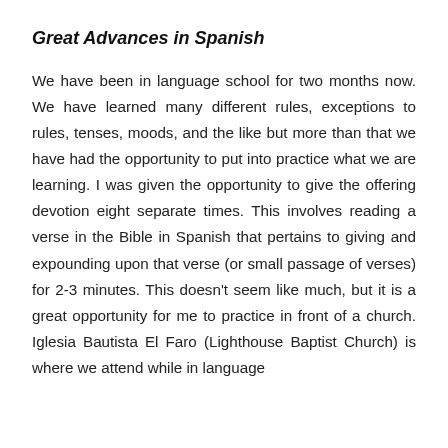Great Advances in Spanish
We have been in language school for two months now. We have learned many different rules, exceptions to rules, tenses, moods, and the like but more than that we have had the opportunity to put into practice what we are learning. I was given the opportunity to give the offering devotion eight separate times. This involves reading a verse in the Bible in Spanish that pertains to giving and expounding upon that verse (or small passage of verses) for 2-3 minutes. This doesn't seem like much, but it is a great opportunity for me to practice in front of a church. Iglesia Bautista El Faro (Lighthouse Baptist Church) is where we attend while in language